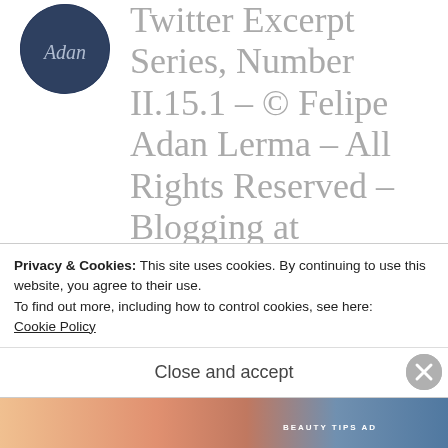[Figure (photo): Circular avatar profile photo with dark blue background and cursive text 'Adan']
Twitter Excerpt Series, Number II.15.1 – © Felipe Adan Lerma – All Rights Reserved – Blogging at WordPress Since 2011 :)
OCTOBER 14, 2020 AT 5:55 AM
Privacy & Cookies: This site uses cookies. By continuing to use this website, you agree to their use.
To find out more, including how to control cookies, see here:
Cookie Policy
Close and accept